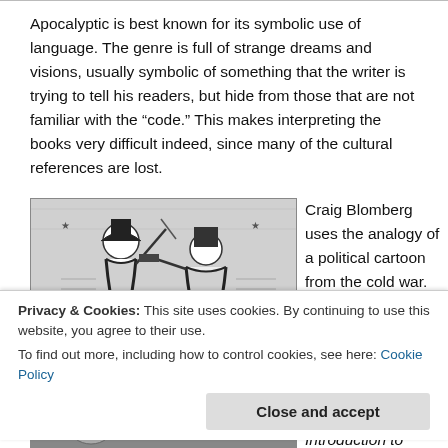Apocalyptic is best known for its symbolic use of language. The genre is full of strange dreams and visions, usually symbolic of something that the writer is trying to tell his readers, but hide from those that are not familiar with the “code.” This makes interpreting the books very difficult indeed, since many of the cultural references are lost.
[Figure (illustration): Black and white political cartoon illustration showing military figures in confrontational poses, one wielding a sword, from the cold war era.]
Craig Blomberg uses the analogy of a political cartoon from the cold war. Any
Privacy & Cookies: This site uses cookies. By continuing to use this website, you agree to their use. To find out more, including how to control cookies, see here: Cookie Policy
[Figure (illustration): Black and white illustration of a war or battle scene with figures and objects, including numbers like 1922 and text like 'DAVID'.]
Blomberg, and Hubbard, Introduction to Biblical Interpretation, 372). A